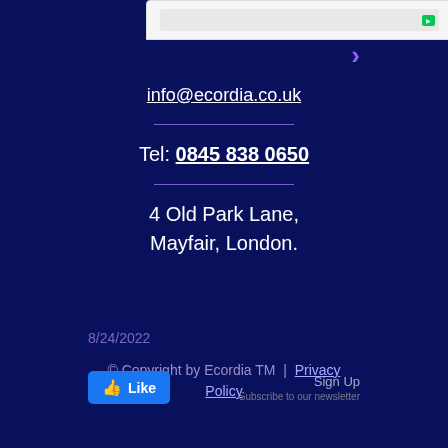[Figure (screenshot): Partial screenshot of a web application UI at top of page]
info@ecordia.co.uk
Tel: 0845 838 0650
4 Old Park Lane,
Mayfair, London.
8/24/2022
© Copyright by Ecordia TM | Privacy Policy
Like  Sign Up